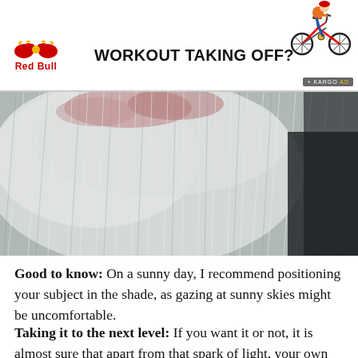[Figure (advertisement): Red Bull advertisement banner with cyclist image and headline WORKOUT TAKING OFF? with Kargo Ad badge]
[Figure (photo): Close-up photo of a white/grey fluffy beard or hair, showing texture detail with some pinkish skin visible at roots]
Good to know: On a sunny day, I recommend positioning your subject in the shade, as gazing at sunny skies might be uncomfortable.
Taking it to the next level: If you want it or not, it is almost sure that apart from that spark of light, your own image (the photographer) will